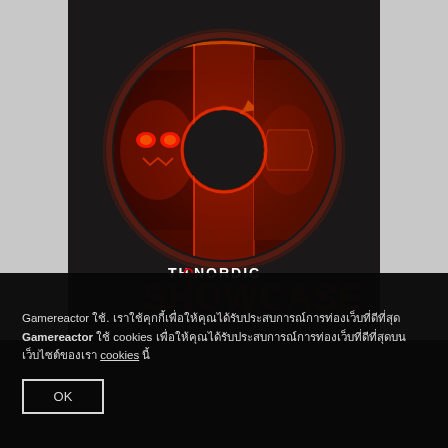[Figure (screenshot): THQ Nordic Showcase promotional image. A dark background with a ring/donut shaped logo filled with game character artwork (demonic/monster faces, warriors in red tones). Below the ring is the THQ Nordic logo text and 'SHOWCASE' text in large letters. Left and right sides have light grey panels.]
Gamereactor ใช้. เราใช้คุกกี้เพื่อให้คุณได้รับประสบการณ์การท่องเว็บที่ดีที่สุด Gamereactor ใช้ cookies เพื่อให้คุณได้รับประสบการณ์การท่องเว็บที่ดีที่สุดบนเว็บไซต์ของเรา cookies นี้
OK